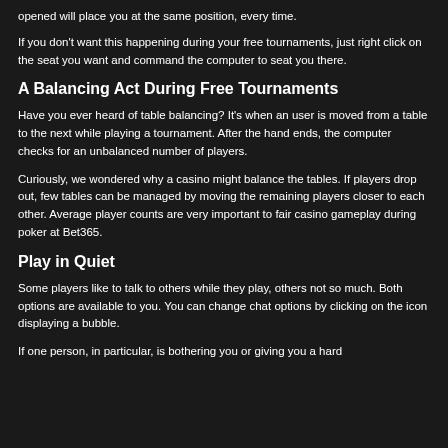opened will place you at the same position, every time.
If you don't want this happening during your free tournaments, just right click on the seat you want and command the computer to seat you there.
A Balancing Act During Free Tournaments
Have you ever heard of table balancing? It's when an user is moved from a table to the next while playing a tournament. After the hand ends, the computer checks for an unbalanced number of players.
Curiously, we wondered why a casino might balance the tables. If players drop out, few tables can be managed by moving the remaining players closer to each other. Average player counts are very important to fair casino gameplay during poker at Bet365.
Play in Quiet
Some players like to talk to others while they play, others not so much. Both options are available to you. You can change chat options by clicking on the icon displaying a bubble.
If one person, in particular, is bothering you or giving you a hard